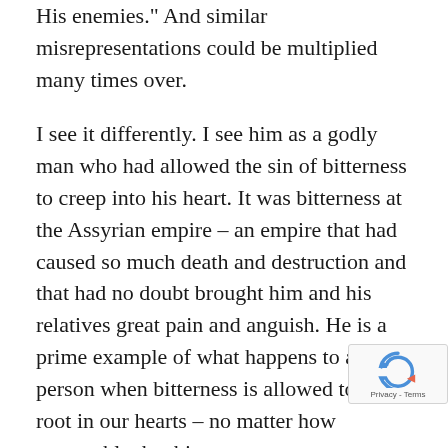His enemies." And similar misrepresentations could be multiplied many times over.
I see it differently. I see him as a godly man who had allowed the sin of bitterness to creep into his heart. It was bitterness at the Assyrian empire – an empire that had caused so much death and destruction and that had no doubt brought him and his relatives great pain and anguish. He is a prime example of what happens to a godly person when bitterness is allowed to take root in our hearts – no matter how reasonable that bitterness may seem on the surface. It poisoned him, as Hebrews guara that bitterness will always do. And as I hav pointed out in another sermon, that bitterness